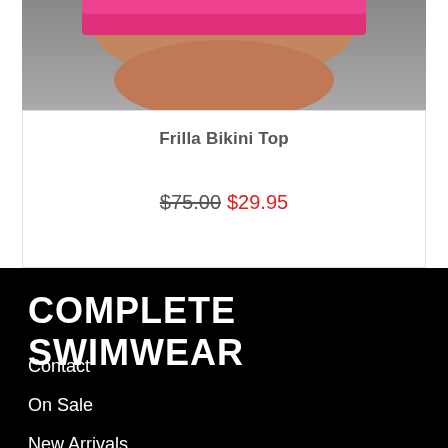[Figure (photo): Close-up photo of a model wearing a hot pink bikini top, showing torso area against a blurred background.]
Frilla Bikini Top
$75.00 $29.95
COMPLETE SWIMWEAR
Contact
On Sale
New Arrivals